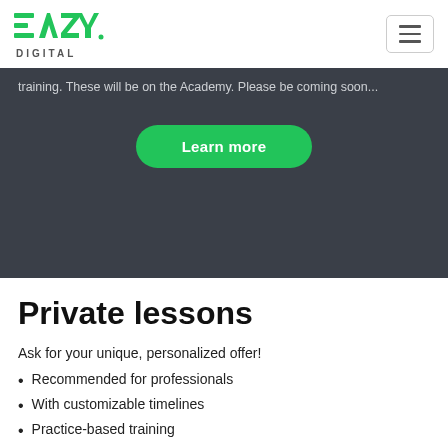EAZY DIGITAL
training. These will be on the Academy. Please be coming soon...
Learn more
Private lessons
Ask for your unique, personalized offer!
Recommended for professionals
With customizable timelines
Practice-based training